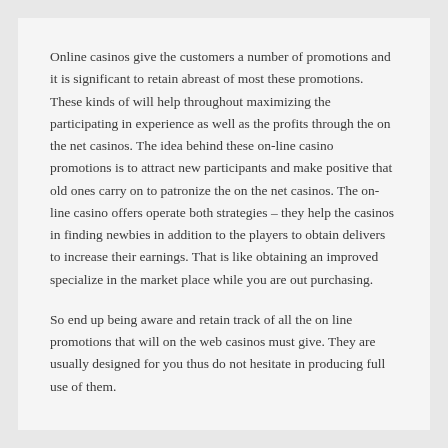Online casinos give the customers a number of promotions and it is significant to retain abreast of most these promotions. These kinds of will help throughout maximizing the participating in experience as well as the profits through the on the net casinos. The idea behind these on-line casino promotions is to attract new participants and make positive that old ones carry on to patronize the on the net casinos. The on-line casino offers operate both strategies – they help the casinos in finding newbies in addition to the players to obtain delivers to increase their earnings. That is like obtaining an improved specialize in the market place while you are out purchasing.
So end up being aware and retain track of all the on line promotions that will on the web casinos must give. They are usually designed for you thus do not hesitate in producing full use of them.